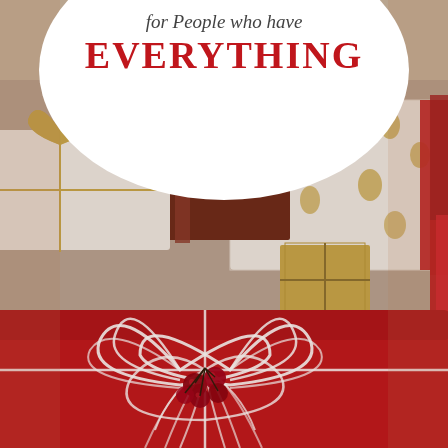[Figure (photo): Background photo of colorful wrapped Christmas gifts/presents including a red gift with a white string bow and red berries, a white gift with gold polka dots, a gold small gift, and other presents in various wrapping papers.]
for People who have EVERYTHING